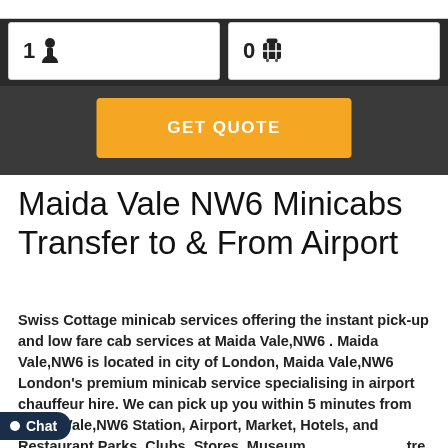[Figure (screenshot): Web form interface showing passenger count (1) and luggage count (0) input fields on dark background]
[Figure (other): Orange GET QUOTE button on dark background]
Maida Vale NW6 Minicabs Transfer to & From Airport
Swiss Cottage minicab services offering the instant pick-up and low fare cab services at Maida Vale,NW6 . Maida Vale,NW6 is located in city of London, Maida Vale,NW6 London's premium minicab service specialising in airport chauffeur hire. We can pick up you within 5 minutes from Maida Vale,NW6 Station, Airport, Market, Hotels, and Restaurant Parks, Clubs, Stores, Museum, Theatre, Arts centres, and Maida Vale,NW6 Local nearby areas. Our services including Airport, Seaport, Station and Local